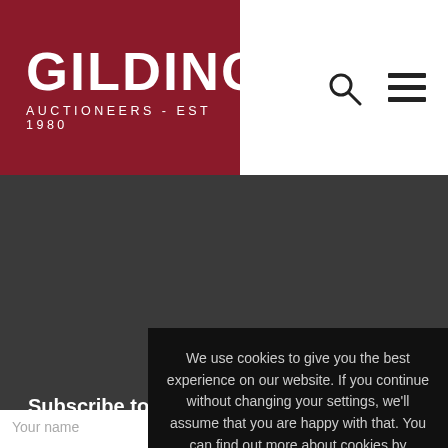GILDINGS AUCTIONEERS - EST 1980
Popular Pages
20th Century Decorative Art & Design
Asian Art
Fine Art & Antiques
Jewellery
Silver
Toys & Memorabilia
Watches
We use cookies to give you the best experience on our website. If you continue without changing your settings, we'll assume that you are happy with that. You can find out more about cookies by clicking this link.
OK
Subscribe to our Newsletter
Your name